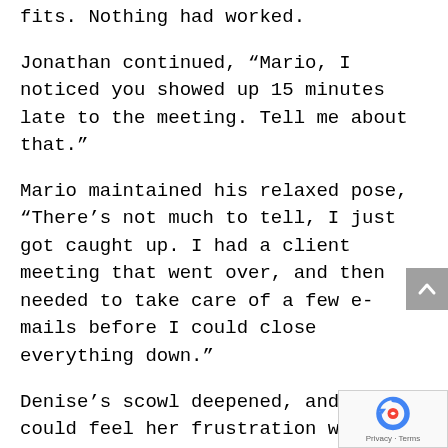fits. Nothing had worked.
Jonathan continued, “Mario, I noticed you showed up 15 minutes late to the meeting. Tell me about that.”
Mario maintained his relaxed pose, “There’s not much to tell, I just got caught up. I had a client meeting that went over, and then needed to take care of a few e-mails before I could close everything down.”
Denise’s scowl deepened, and Betty could feel her frustration with Mario mounting. He was just so glib about everything.
Jonathan was unfazed, “Got it, thanks for sharing that. Were you unaware that this meeting was scheduled?”